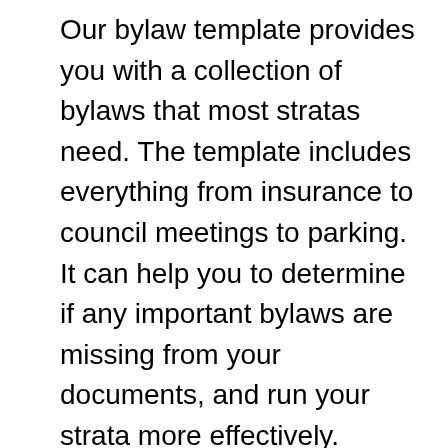Our bylaw template provides you with a collection of bylaws that most stratas need. The template includes everything from insurance to council meetings to parking. It can help you to determine if any important bylaws are missing from your documents, and run your strata more effectively. Having proper bylaws in place ensures the strata maintains its value and allows owners to enjoy their homes. Plus, happier owners lead to more engaged and productive strata communities.